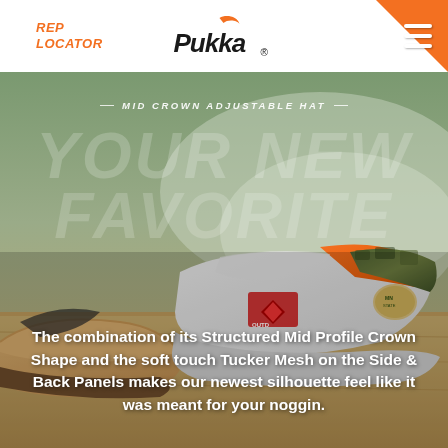REP LOCATOR | Pukka Logo | Menu
[Figure (photo): Background photo of Pukka hats on a wooden surface with outdoor/nature setting, showing mid crown adjustable trucker hats with camo and orange colorways]
MID CROWN ADJUSTABLE HAT
YOUR NEW FAVORITE
The combination of its Structured Mid Profile Crown Shape and the soft touch Tucker Mesh on the Side & Back Panels makes our newest silhouette feel like it was meant for your noggin.